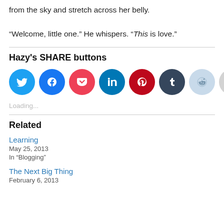from the sky and stretch across her belly.

“Welcome, little one.” He whispers. “This is love.”
Hazy's SHARE buttons
[Figure (infographic): Row of circular social media share buttons: Twitter (blue), Facebook (blue), Pocket (red), LinkedIn (dark teal), Pinterest (red), Tumblr (dark navy), Reddit (light blue), Email (gray)]
Loading...
Related
Learning
May 25, 2013
In "Blogging"
The Next Big Thing
February 6, 2013